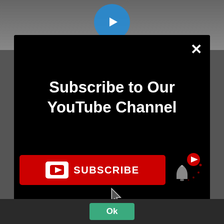[Figure (screenshot): YouTube subscribe modal overlay on a dark background. The modal has a black background with a white X close button in the top right. A bold white heading reads 'Subscribe to Our YouTube Channel'. A red Subscribe button with a YouTube play icon is shown, alongside an animated bell icon with a YouTube logo. A cursor pointer is shown hovering over the subscribe button. An 'Ok' green button appears at the bottom.]